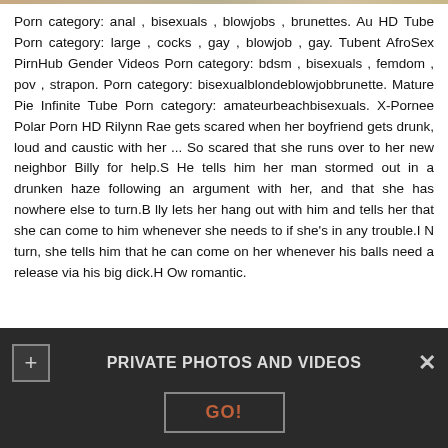[Figure (photo): Partial image strip at top of page]
Porn category: anal , bisexuals , blowjobs , brunettes. Au HD Tube Porn category: large , cocks , gay , blowjob , gay. Tubent AfroSex PirnHub Gender Videos Porn category: bdsm , bisexuals , femdom , pov , strapon. Porn category: bisexualblondeblowjobbrunette. Mature Pie Infinite Tube Porn category: amateurbeachbisexuals. X-Pornee Polar Porn HD Rilynn Rae gets scared when her boyfriend gets drunk, loud and caustic with her ... So scared that she runs over to her new neighbor Billy for help.S He tells him her man stormed out in a drunken haze following an argument with her, and that she has nowhere else to turn.B lly lets her hang out with him and tells her that she can come to him whenever she needs to if she's in any trouble.I N turn, she tells him that he can come on her whenever his balls need a release via his big dick.H Ow romantic.
PRIVATE PHOTOS AND VIDEOS  GO!